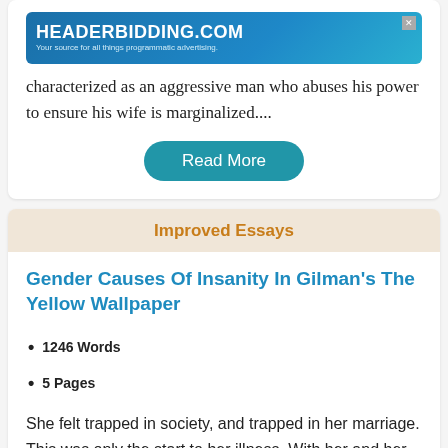[Figure (screenshot): HEADERBIDDING.COM advertisement banner — Your source for all things programmatic advertising.]
characterized as an aggressive man who abuses his power to ensure his wife is marginalized....
Read More
Improved Essays
Gender Causes Of Insanity In Gilman's The Yellow Wallpaper
1246 Words
5 Pages
She felt trapped in society, and trapped in her marriage. This was only the start to her illness. With her and her husband's inability to separate